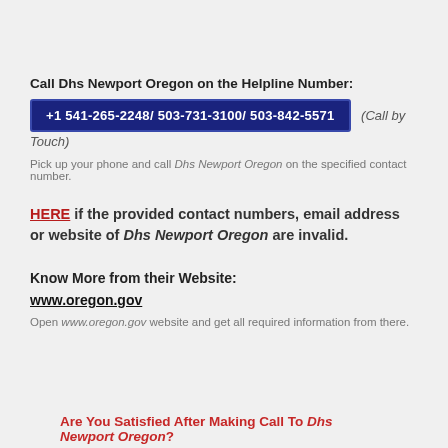Call Dhs Newport Oregon on the Helpline Number:
+1 541-265-2248/ 503-731-3100/ 503-842-5571  (Call by Touch)
Pick up your phone and call Dhs Newport Oregon on the specified contact number.
HERE if the provided contact numbers, email address or website of Dhs Newport Oregon are invalid.
Know More from their Website:
www.oregon.gov
Open www.oregon.gov website and get all required information from there.
Are You Satisfied After Making Call To Dhs Newport Oregon?